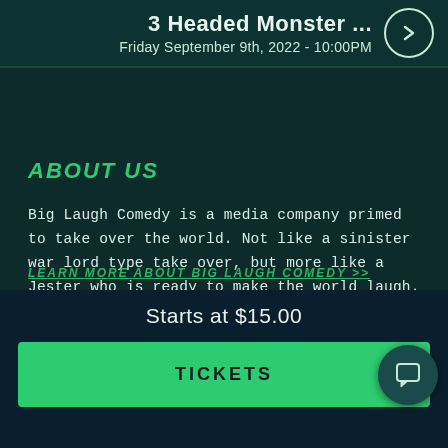3 Headed Monster ...
Friday September 9th, 2022 - 10:00PM
ABOUT US
Big Laugh Comedy is a media company primed to take over the world. Not like a sinister war lord type take over, but more like a Jester who is ready to make the world laugh. That's us, Big Laugh Comedy. Our hyper focus is to bring you laughter...all the time.
LEARN MORE ABOUT BIG LAUGH COMEDY >>
Starts at $15.00
TICKETS